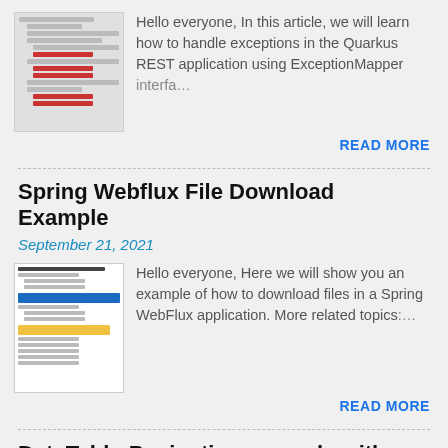[Figure (screenshot): Screenshot thumbnail of a file/project tree structure with red icons]
Hello everyone, In this article, we will learn how to handle exceptions in the Quarkus REST application using ExceptionMapper interfa…
READ MORE
Spring Webflux File Download Example
September 21, 2021
[Figure (screenshot): Screenshot thumbnail of a Spring WebFlux file download project with blue and yellow bars]
Hello everyone, Here we will show you an example of how to download files in a Spring WebFlux application. More related topics…
READ MORE
DataTable-Pagination example with Spring boot, jQuery and ajax